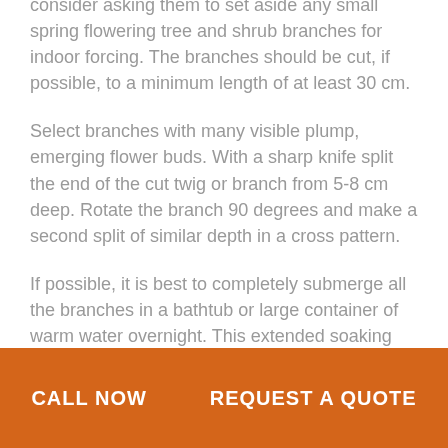consider asking them to set aside any small spring flowering tree and shrub branches for indoor forcing. The branches should be cut, if possible, to a minimum length of at least 30 cm.
Select branches with many visible plump, emerging flower buds. With a sharp knife split the end of the cut twig or branch from 5-8 cm deep. Rotate the branch 90 degrees and make a second split of similar depth in a cross pattern.
If possible, it is best to completely submerge all the branches in a bathtub or large container of warm water overnight. This extended soaking can
CALL NOW    REQUEST A QUOTE